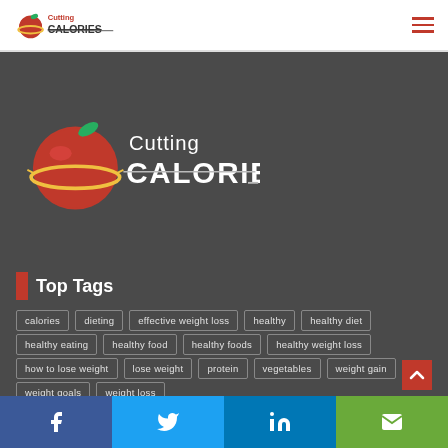Cutting Calories
[Figure (logo): Cutting Calories logo — large version on dark banner background]
Top Tags
calories
dieting
effective weight loss
healthy
healthy diet
healthy eating
healthy food
healthy foods
healthy weight loss
how to lose weight
lose weight
protein
vegetables
weight gain
weight goals
weight loss
Facebook Twitter LinkedIn Email